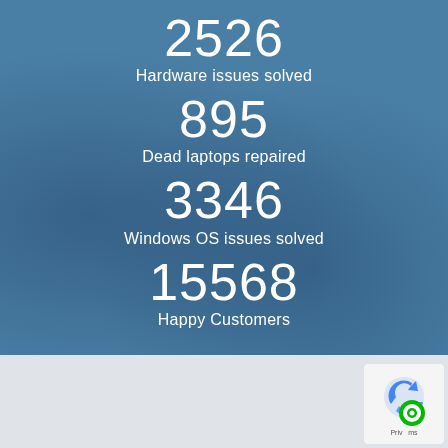2526
Hardware issues solved
895
Dead laptops repaired
3346
Windows OS issues solved
15568
Happy Customers
[Figure (logo): reCAPTCHA / privacy badge logo in bottom right corner]